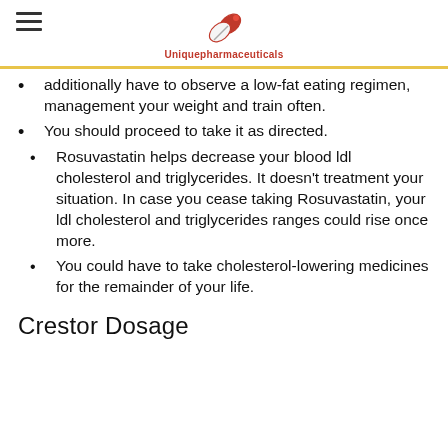Uniquepharmaceuticals
additionally have to observe a low-fat eating regimen, management your weight and train often.
You should proceed to take it as directed.
Rosuvastatin helps decrease your blood ldl cholesterol and triglycerides. It doesn’t treatment your situation. In case you cease taking Rosuvastatin, your ldl cholesterol and triglycerides ranges could rise once more.
You could have to take cholesterol-lowering medicines for the remainder of your life.
Crestor Dosage